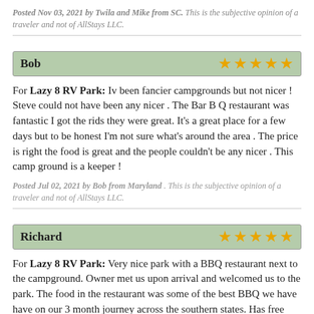Posted Nov 03, 2021 by Twila and Mike from SC. This is the subjective opinion of a traveler and not of AllStays LLC.
Bob ★★★★★
For Lazy 8 RV Park: Iv been fancier campgrounds but not nicer ! Steve could not have been any nicer . The Bar B Q restaurant was fantastic I got the rids they were great. It's a great place for a few days but to be honest I'm not sure what's around the area . The price is right the food is great and the people couldn't be any nicer . This camp ground is a keeper !
Posted Jul 02, 2021 by Bob from Maryland . This is the subjective opinion of a traveler and not of AllStays LLC.
Richard ★★★★★
For Lazy 8 RV Park: Very nice park with a BBQ restaurant next to the campground. Owner met us upon arrival and welcomed us to the park. The food in the restaurant was some of the best BBQ we have have on our 3 month journey across the southern states. Has free WiFi and laundry. Restrooms